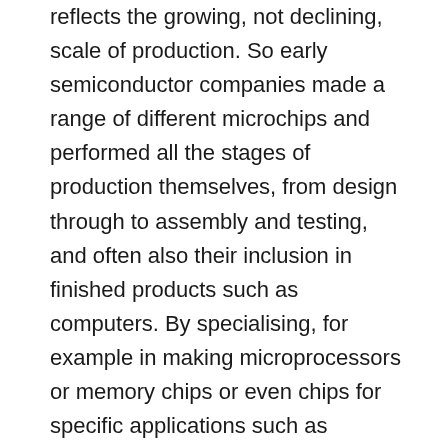reflects the growing, not declining, scale of production. So early semiconductor companies made a range of different microchips and performed all the stages of production themselves, from design through to assembly and testing, and often also their inclusion in finished products such as computers. By specialising, for example in making microprocessors or memory chips or even chips for specific applications such as watches, a few firms could dominate their respective markets. This was most obvious in the case of Intel in microprocessors. Similarly, rather than making their own manufacturing equipment, the chip makers could buy this from a smaller number of specialist firms like Applied Materials, Nikon or Canon, which achieved greater economies of scale than if all the semiconductor firms produced their own capital goods.68